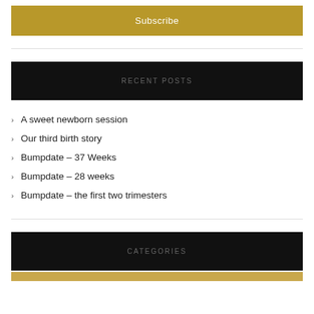Subscribe
RECENT POSTS
A sweet newborn session
Our third birth story
Bumpdate – 37 Weeks
Bumpdate – 28 weeks
Bumpdate – the first two trimesters
CATEGORIES